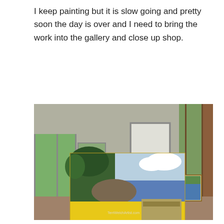I keep painting but it is slow going and pretty soon the day is over and I need to bring the work into the gallery and close up shop.
[Figure (photo): A painting of a coastal scene with blue water, rocky shore, green trees, white clouds, and yellow foreground, displayed on an easel inside an art gallery with other artworks visible in the background. Watermark reads TerriWelchArtist.com]
The very next day, I move the wet painting to the